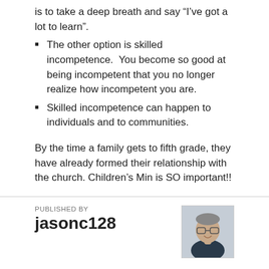is to take a deep breath and say “I’ve got a lot to learn”.
The other option is skilled incompetence.  You become so good at being incompetent that you no longer realize how incompetent you are.
Skilled incompetence can happen to individuals and to communities.
By the time a family gets to fifth grade, they have already formed their relationship with the church. Children’s Min is SO important!!
PUBLISHED BY
jasonc128
[Figure (photo): Headshot photo of jasonc128, a man wearing glasses and a dark shirt, smiling.]
Jason is the Chief Executive Officer of Outreach Inc, a non-profit in Indianapolis working with youth and young adults who are homeless. View all posts by jasonc128